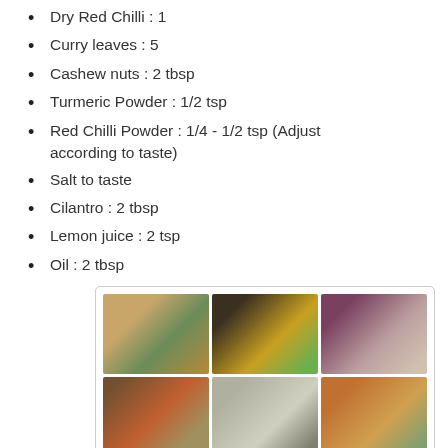Dry Red Chilli : 1
Curry leaves : 5
Cashew nuts : 2 tbsp
Turmeric Powder : 1/2 tsp
Red Chilli Powder : 1/4 - 1/2 tsp (Adjust according to taste)
Salt to taste
Cilantro : 2 tbsp
Lemon juice : 2 tsp
Oil : 2 tbsp
[Figure (photo): A 2-row, 3-column collage of cooking step photos showing ingredients and cooking process for an Indian dish.]